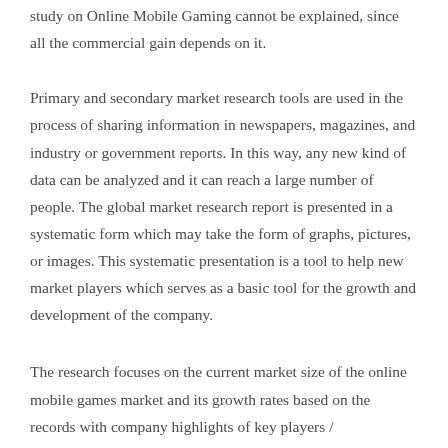study on Online Mobile Gaming cannot be explained, since all the commercial gain depends on it.
Primary and secondary market research tools are used in the process of sharing information in newspapers, magazines, and industry or government reports. In this way, any new kind of data can be analyzed and it can reach a large number of people. The global market research report is presented in a systematic form which may take the form of graphs, pictures, or images. This systematic presentation is a tool to help new market players which serves as a basic tool for the growth and development of the company.
The research focuses on the current market size of the online mobile games market and its growth rates based on the records with company highlights of key players /